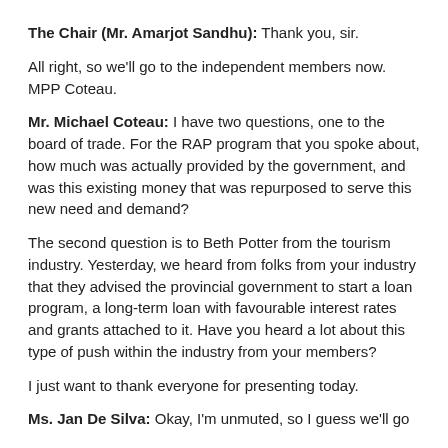The Chair (Mr. Amarjot Sandhu): Thank you, sir.
All right, so we'll go to the independent members now. MPP Coteau.
Mr. Michael Coteau: I have two questions, one to the board of trade. For the RAP program that you spoke about, how much was actually provided by the government, and was this existing money that was repurposed to serve this new need and demand?
The second question is to Beth Potter from the tourism industry. Yesterday, we heard from folks from your industry that they advised the provincial government to start a loan program, a long-term loan with favourable interest rates and grants attached to it. Have you heard a lot about this type of push within the industry from your members?
I just want to thank everyone for presenting today.
Ms. Jan De Silva: Okay, I'm unmuted, so I guess we'll go